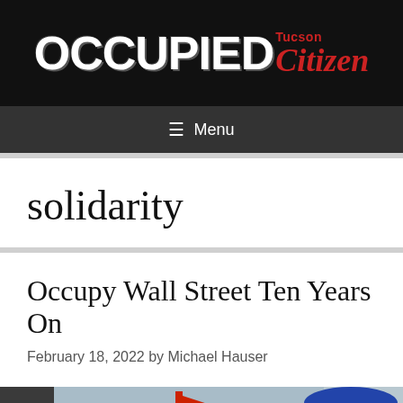[Figure (logo): Occupied Tucson Citizen website logo on black background]
≡  Menu
solidarity
Occupy Wall Street Ten Years On
February 18, 2022 by Michael Hauser
[Figure (photo): Street protest photo showing people with signs and flags in front of a building, with a traffic light visible on the left and a blue umbrella on the right]